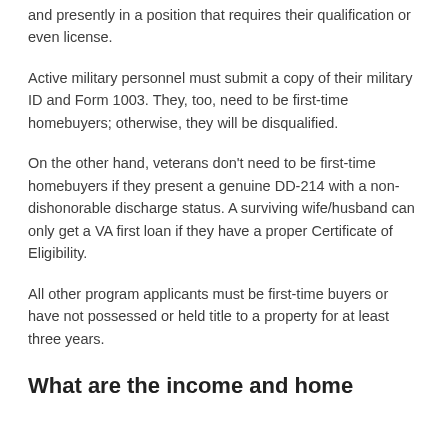and presently in a position that requires their qualification or even license.
Active military personnel must submit a copy of their military ID and Form 1003. They, too, need to be first-time homebuyers; otherwise, they will be disqualified.
On the other hand, veterans don't need to be first-time homebuyers if they present a genuine DD-214 with a non-dishonorable discharge status. A surviving wife/husband can only get a VA first loan if they have a proper Certificate of Eligibility.
All other program applicants must be first-time buyers or have not possessed or held title to a property for at least three years.
What are the income and home